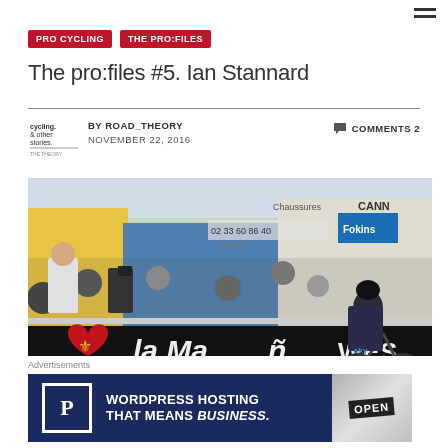PRO CYCLING | THE PRO:FILES
The pro:files #5. Ian Stannard
BY ROAD_THEORY   NOVEMBER 22, 2016   COMMENTS 2
[Figure (photo): Cyclist in Sky team kit racing past spectators with 'la Ma[nche]' banner. Signs include '02 33 60 86 40', 'Chaussures CANN[on]', 'Fokins'. Crowd watching behind barriers.]
Advertisements
[Figure (infographic): WordPress hosting advertisement banner: 'P' box logo, text 'WORDPRESS HOSTING THAT MEANS BUSINESS.' with 'OPEN' sign image on right side. Dark navy background.]